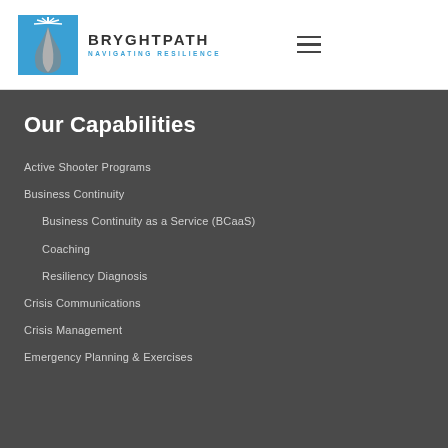[Figure (logo): Bryghtpath logo with road/sunburst icon and text 'BRYGHTPATH NAVIGATING RESILIENCE']
Our Capabilities
Active Shooter Programs
Business Continuity
Business Continuity as a Service (BCaaS)
Coaching
Resiliency Diagnosis
Crisis Communications
Crisis Management
Emergency Planning & Exercises